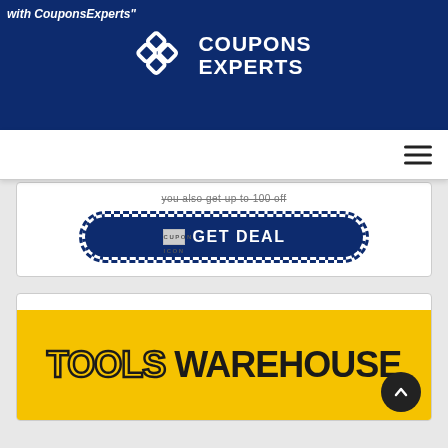with CouponsExperts"
[Figure (logo): Coupons Experts logo — geometric white diamond/chain link icon on dark navy background with text COUPONS EXPERTS in white bold]
[Figure (screenshot): Navigation bar with hamburger menu icon on the right]
you also get up to 100 off
[Figure (infographic): GET DEAL button with cupon-icon and dashed border on dark navy background]
[Figure (logo): Tools Warehouse logo on yellow background with large bold text TOOLS WAREHOUSE and a price tag icon]